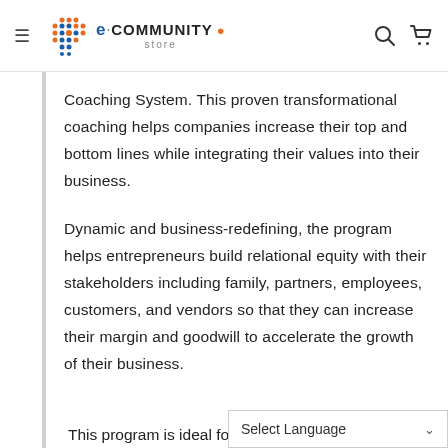[Figure (logo): e-community store logo with colorful dot grid icon and navigation bar with hamburger menu, search and cart icons]
Coaching System. This proven transformational coaching helps companies increase their top and bottom lines while integrating their values into their business.
Dynamic and business-redefining, the program helps entrepreneurs build relational equity with their stakeholders including family, partners, employees, customers, and vendors so that they can increase their margin and goodwill to accelerate the growth of their business.
This program is ideal for i...